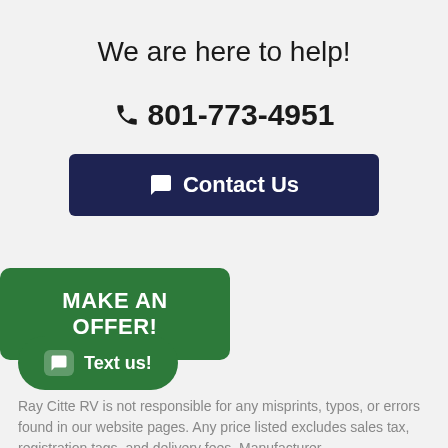We are here to help!
📞 801-773-4951
[Figure (other): Dark navy blue button labeled 'Contact Us' with speech bubble icon]
[Figure (other): Green button labeled 'MAKE AN OFFER!']
[Figure (other): Green pill-shaped button labeled 'Text us!' with chat icon]
Ray Citte RV is not responsible for any misprints, typos, or errors found in our website pages. Any price listed excludes sales tax, registration tags, and delivery fees. Manufacturer